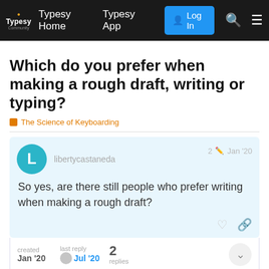Typesy Community | Typesy Home | Typesy App | Log In
Which do you prefer when making a rough draft, writing or typing?
The Science of Keyboarding
libertycastaneda  2  Jan '20
So yes, are there still people who prefer writing when making a rough draft?
created Jan '20  last reply Jul '20  2 replies
15 DAYS LATER
1 / 3